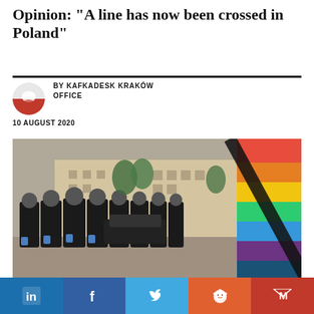Opinion: "A line has now been crossed in Poland"
BY KAFKADESK KRAKÓW OFFICE
10 AUGUST 2020
[Figure (photo): Police officers in black uniforms and masks standing in a line facing a rainbow pride flag at what appears to be a public square protest in Poland.]
in | f | twitter | reddit | M